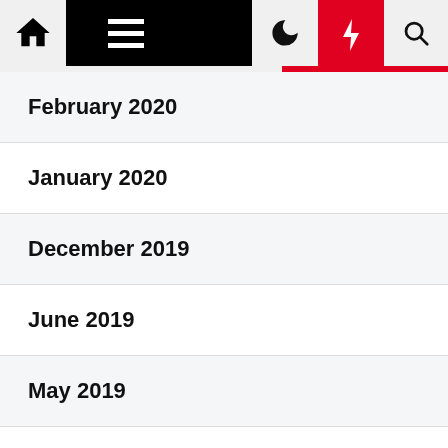Navigation bar with home, menu, moon, bolt, and search icons
February 2020
January 2020
December 2019
June 2019
May 2019
April 2019
March 2019
February 2019
January 2019